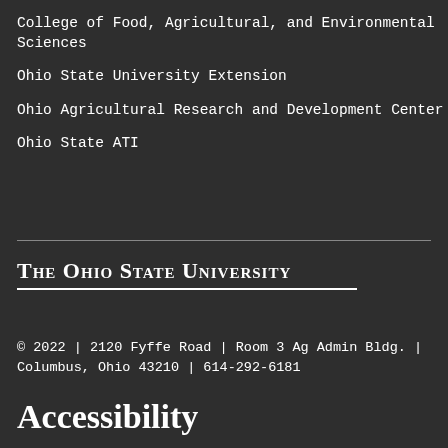College of Food, Agricultural, and Environmental Sciences
Ohio State University Extension
Ohio Agricultural Research and Development Center
Ohio State ATI
The Ohio State University
© 2022 | 2120 Fyffe Road | Room 3 Ag Admin Bldg. | Columbus, Ohio 43210 | 614-292-6181
Accessibility